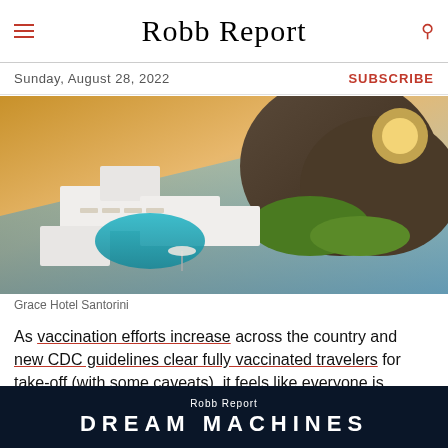Robb Report
Sunday, August 28, 2022
SUBSCRIBE
[Figure (photo): Aerial view of Grace Hotel Santorini showing white Cycladic architecture, an oval pool with sunbeds, umbrella, cliff backdrop and sea view at sunset]
Grace Hotel Santorini
As vaccination efforts increase across the country and new CDC guidelines clear fully vaccinated travelers for take-off (with some caveats), it feels like everyone is
[Figure (screenshot): Robb Report Dream Machines advertisement banner with dark blue background and city lights]